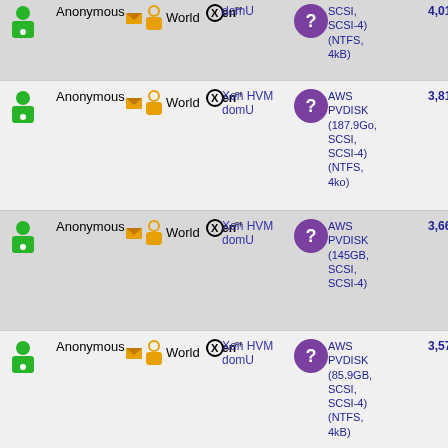| User | Group | Hypervisor | Status | Disk | Score |
| --- | --- | --- | --- | --- | --- |
| Anonymous | World | Xen HVM domU | ? | SCSI, SCSI-4) (NTFS, 4kB) | 4,01… |
| Anonymous | World | Xen HVM domU | ? | AWS PVDISK (187.9Go, SCSI, SCSI-4) (NTFS, 4ko) | 3,818 |
| Anonymous | World | Xen HVM domU | ? | AWS PVDISK (145GB, SCSI, SCSI-4) | 3,668 |
| Anonymous | World | Xen HVM domU | ? | AWS PVDISK (85.9GB, SCSI, SCSI-4) (NTFS, 4kB) | 3,576 |
0 - 5 (18)  Next > End
News | Reviews | Privacy | Licence | Contact
All trademarks acknowledged. Used for identification only under fair use. E.
© SiSoftware 1995-Present. All Rights Reserved.  Original (British) Eng